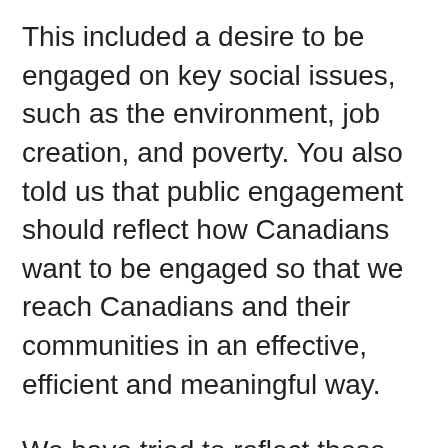This included a desire to be engaged on key social issues, such as the environment, job creation, and poverty. You also told us that public engagement should reflect how Canadians want to be engaged so that we reach Canadians and their communities in an effective, efficient and meaningful way.
We have tried to reflect these comments in our commitment on Open Dialogue and Open Policy Making (commitment 20). We have committed to promoting common practices and approaches for open dialogue across the Government of Canada to foster